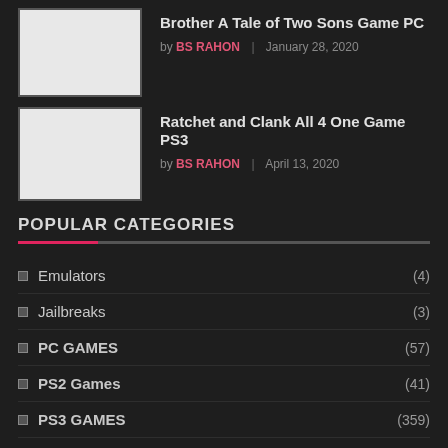Brother A Tale of Two Sons Game PC | by BS RAHON | January 28, 2020
Ratchet and Clank All 4 One Game PS3 | by BS RAHON | April 13, 2020
POPULAR CATEGORIES
Emulators (4)
Jailbreaks (3)
PC GAMES (57)
PS2 Games (41)
PS3 GAMES (359)
PS4 GAMES (555)